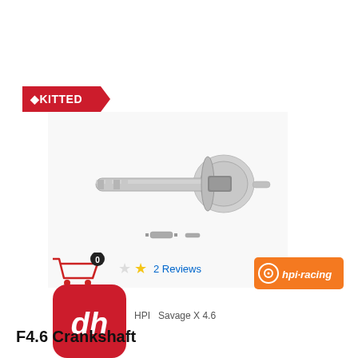[Figure (logo): KITTED brand badge in red with arrow shape and white text]
[Figure (photo): Metal crankshaft part (F4.6) for HPI Savage X 4.6, shown on white background with two small components below]
[Figure (other): Shopping cart icon with badge showing 0]
[Figure (other): Star rating: 2 stars (one empty, one filled) with '2 Reviews' link]
[Figure (logo): HPI Racing logo on orange background]
[Figure (logo): Red app icon with stylized 'dh' monogram]
HPI Savage X 4.6
F4.6 Crankshaft